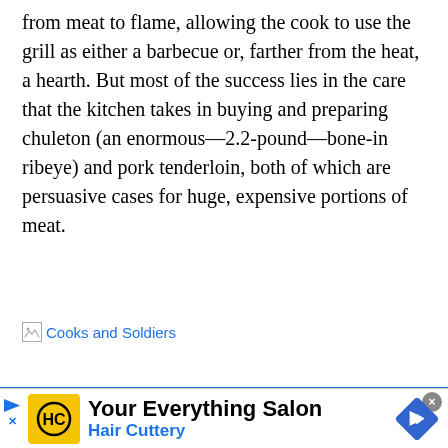from meat to flame, allowing the cook to use the grill as either a barbecue or, farther from the heat, a hearth. But most of the success lies in the care that the kitchen takes in buying and preparing chuleton (an enormous—2.2-pound—bone-in ribeye) and pork tenderloin, both of which are persuasive cases for huge, expensive portions of meat.
[Figure (other): Broken image placeholder link labeled 'Cooks and Soldiers']
[Figure (other): Advertisement banner for Hair Cuttery - 'Your Everything Salon' with HC logo and navigation arrow icon]